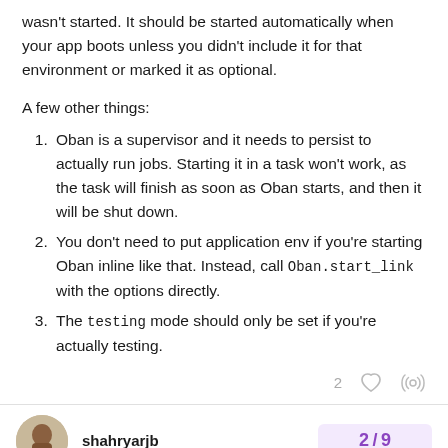wasn't started. It should be started automatically when your app boots unless you didn't include it for that environment or marked it as optional.
A few other things:
Oban is a supervisor and it needs to persist to actually run jobs. Starting it in a task won't work, as the task will finish as soon as Oban starts, and then it will be shut down.
You don't need to put application env if you're starting Oban inline like that. Instead, call Oban.start_link with the options directly.
The testing mode should only be set if you're actually testing.
shahryarjb  2/9